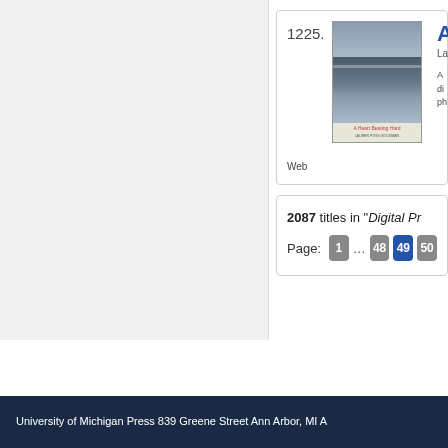[Figure (screenshot): Left gray panel of a webpage catalog]
1225.
[Figure (photo): Book cover thumbnail: A Heart Beating Hard by Lauren Foss Goodman, showing warehouse ceiling with fluorescent lights]
A
La
A di ph
Web
2087 titles in "Digital Pr
Page: 1 ... 48 49 50
University of Michigan Press 839 Greene Street Ann Arbor, MI A